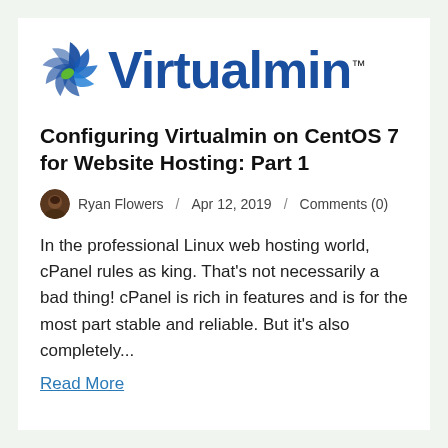[Figure (logo): Virtualmin logo with spiral icon in blue and green, and the wordmark 'Virtualmin' in bold blue with TM mark]
Configuring Virtualmin on CentOS 7 for Website Hosting: Part 1
Ryan Flowers / Apr 12, 2019 / Comments (0)
In the professional Linux web hosting world, cPanel rules as king. That's not necessarily a bad thing! cPanel is rich in features and is for the most part stable and reliable. But it's also completely...
Read More